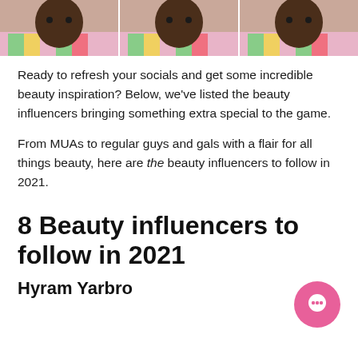[Figure (photo): A strip of three repeated photos showing a person wearing a colorful floral shirt, cropped to show the top of their head and torso]
Ready to refresh your socials and get some incredible beauty inspiration? Below, we've listed the beauty influencers bringing something extra special to the game.
From MUAs to regular guys and gals with a flair for all things beauty, here are the beauty influencers to follow in 2021.
8 Beauty influencers to follow in 2021
Hyram Yarbro